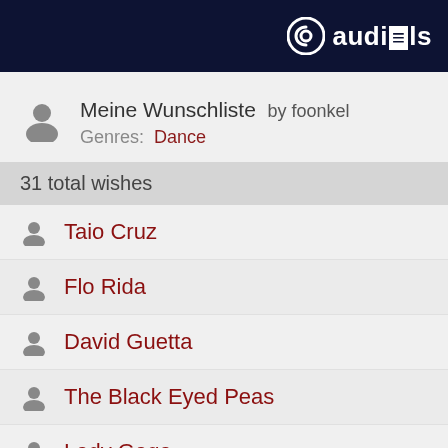audials
Meine Wunschliste by foonkel
Genres: Dance
31 total wishes
Taio Cruz
Flo Rida
David Guetta
The Black Eyed Peas
Lady Gaga